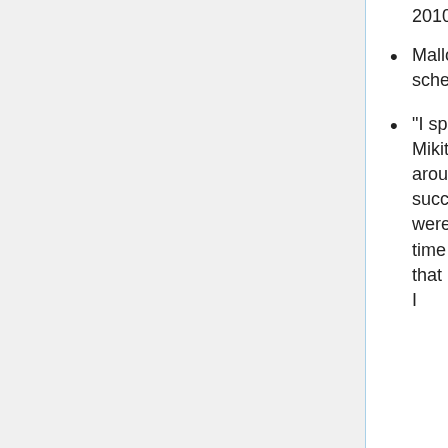2010
Mallozzi's Weblog: April 16, 2010, entry has a run-down of Mallozzi's schedule and a few behind-the-scenes images.
"I spent a couple of early hours on set this morning to watch Director Andy Mikita work his magic on Awakening (Day #3 of production). A lot of jumping around in this one which resulted in our block-shooting a number of successive scenes. Producer John G. Lenic swung by to inform me that we were pulling up a big scene from tomorrow's schedule in order to give Andy time to shoot in that impressive new set in Stage 6. ... Andy was confident that he could get it done – and so long as my director was comfortable with it, I